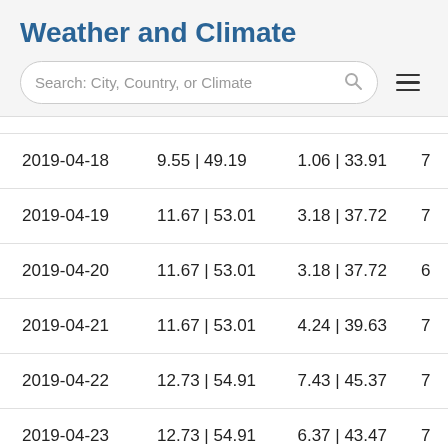Weather and Climate
[Figure (screenshot): Search bar with placeholder text 'Search: City, Country, or Climate' and a hamburger menu icon]
| Date | Col2 | Col3 | Col4 |
| --- | --- | --- | --- |
| 2019-04-18 | 9.55 | 49.19 | 1.06 | 33.91 | 7 |
| 2019-04-19 | 11.67 | 53.01 | 3.18 | 37.72 | 7 |
| 2019-04-20 | 11.67 | 53.01 | 3.18 | 37.72 | 6 |
| 2019-04-21 | 11.67 | 53.01 | 4.24 | 39.63 | 7 |
| 2019-04-22 | 12.73 | 54.91 | 7.43 | 45.37 | 7 |
| 2019-04-23 | 12.73 | 54.91 | 6.37 | 43.47 | 7 |
| 2019-04-24 | 16.98 | 62.56 | 7.43 | 45.37 |  |